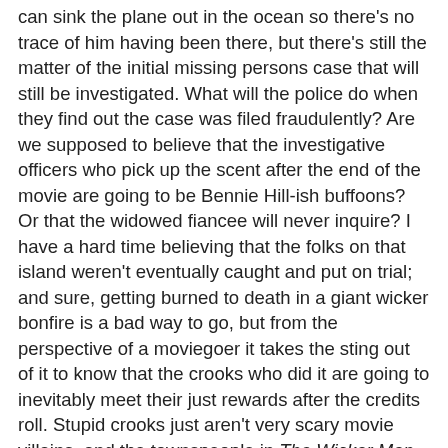can sink the plane out in the ocean so there's no trace of him having been there, but there's still the matter of the initial missing persons case that will still be investigated. What will the police do when they find out the case was filed fraudulently? Are we supposed to believe that the investigative officers who pick up the scent after the end of the movie are going to be Bennie Hill-ish buffoons? Or that the widowed fiancee will never inquire? I have a hard time believing that the folks on that island weren't eventually caught and put on trial; and sure, getting burned to death in a giant wicker bonfire is a bad way to go, but from the perspective of a moviegoer it takes the sting out of it to know that the crooks who did it are going to inevitably meet their just rewards after the credits roll. Stupid crooks just aren't very scary movie villains, and the townspeople in The Wicker Man - Pagan sex-rites and all - definitely qualify as stupid crooks.
I have to say thaat throughout the movie my mind kept flashing forward to the much more interesting movie they oculd have made if a more interesting investigator had found his way to the island . . . like, say, John Shaft. That would be